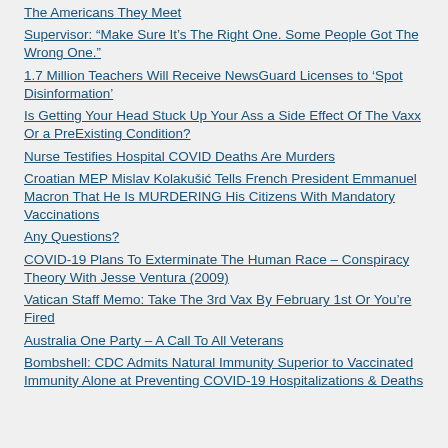The Americans They Meet
Supervisor: “Make Sure It’s The Right One. Some People Got The Wrong One.”
1.7 Million Teachers Will Receive NewsGuard Licenses to ‘Spot Disinformation’
Is Getting Your Head Stuck Up Your Ass a Side Effect Of The Vaxx Or a PreExisting Condition?
Nurse Testifies Hospital COVID Deaths Are Murders
Croatian MEP Mislav Kolakušić Tells French President Emmanuel Macron That He Is MURDERING His Citizens With Mandatory Vaccinations
Any Questions?
COVID-19 Plans To Exterminate The Human Race – Conspiracy Theory With Jesse Ventura (2009)
Vatican Staff Memo: Take The 3rd Vax By February 1st Or You’re Fired
Australia One Party – A Call To All Veterans
Bombshell: CDC Admits Natural Immunity Superior to Vaccinated Immunity Alone at Preventing COVID-19 Hospitalizations & Deaths